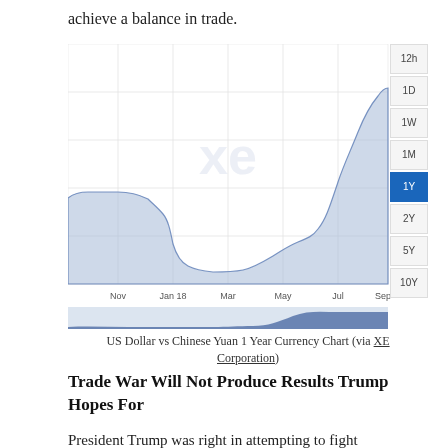achieve a balance in trade.
[Figure (area-chart): Area chart showing USD/CNY exchange rate over 1 year. Rate dipped from ~6.65 in Nov to ~6.25 in Jan-Mar range, then rose sharply to ~6.85 by Sep. Time period buttons on right: 12h, 1D, 1W, 1M, 1Y (active), 2Y, 5Y, 10Y.]
US Dollar vs Chinese Yuan 1 Year Currency Chart (via XE Corporation)
Trade War Will Not Produce Results Trump Hopes For
President Trump was right in attempting to fight